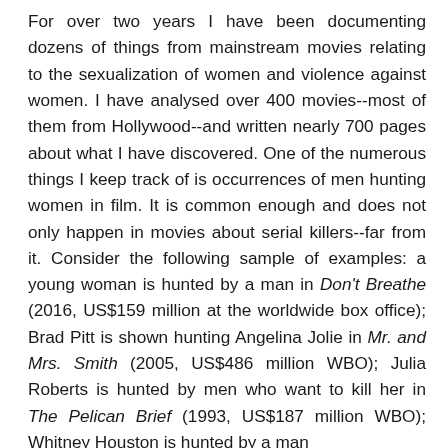For over two years I have been documenting dozens of things from mainstream movies relating to the sexualization of women and violence against women. I have analysed over 400 movies--most of them from Hollywood--and written nearly 700 pages about what I have discovered. One of the numerous things I keep track of is occurrences of men hunting women in film. It is common enough and does not only happen in movies about serial killers--far from it. Consider the following sample of examples: a young woman is hunted by a man in Don't Breathe (2016, US$159 million at the worldwide box office); Brad Pitt is shown hunting Angelina Jolie in Mr. and Mrs. Smith (2005, US$486 million WBO); Julia Roberts is hunted by men who want to kill her in The Pelican Brief (1993, US$187 million WBO); Whitney Houston is hunted by a man